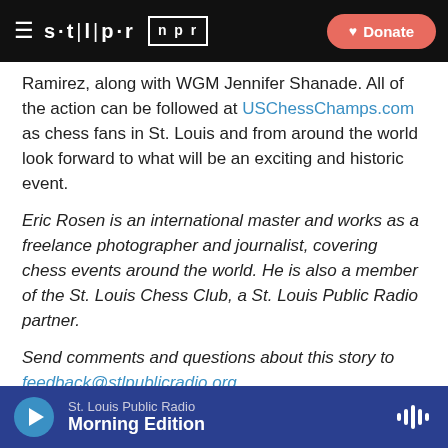STLPR NPR | Donate
Ramirez, along with WGM Jennifer Shanade. All of the action can be followed at USChessChamps.com as chess fans in St. Louis and from around the world look forward to what will be an exciting and historic event.
Eric Rosen is an international master and works as a freelance photographer and journalist, covering chess events around the world. He is also a member of the St. Louis Chess Club, a St. Louis Public Radio partner.
Send comments and questions about this story to feedback@stlpublicradio.org.
Tags  Arts  On Chess
St. Louis Public Radio  Morning Edition